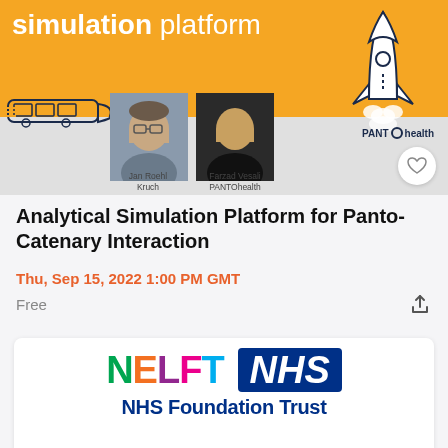[Figure (illustration): Event banner with orange background showing 'simulation platform' text, rocket illustration, train illustration, two speaker photos (Jan Roehl Kruch and Farzad Vesali PANTOhealth), PANTOhealth logo, and a heart button.]
Analytical Simulation Platform for Panto-Catenary Interaction
Thu, Sep 15, 2022 1:00 PM GMT
Free
[Figure (logo): NELFT NHS Foundation Trust logo with colorful NELFT letters and NHS blue badge]